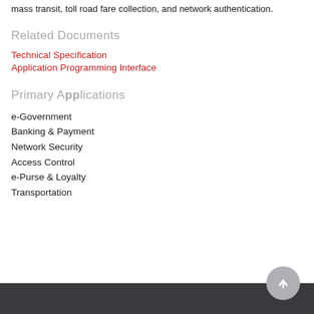mass transit, toll road fare collection, and network authentication.
Related Documents
Technical Specification
Application Programming Interface
Primary Applications
e-Government
Banking & Payment
Network Security
Access Control
e-Purse & Loyalty
Transportation